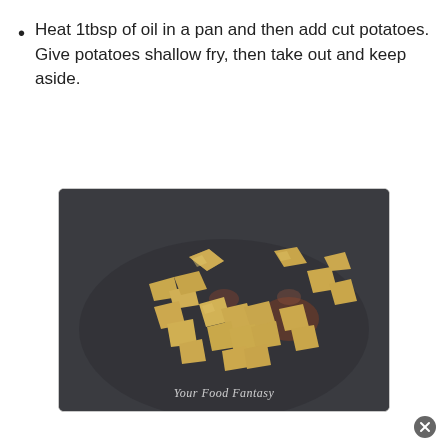Heat 1tbsp of oil in a pan and then add cut potatoes. Give potatoes shallow fry, then take out and keep aside.
[Figure (photo): Cut potato pieces being shallow fried in a dark non-stick pan. Watermark reads 'Your Food Fantasy'.]